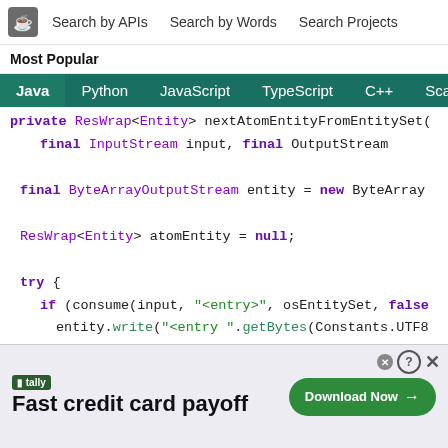Search by APIs  Search by Words  Search Projects
Most Popular
Java  Python  JavaScript  TypeScript  C++  Scala
[Figure (screenshot): Java code snippet showing private ResWrap<Entity> nextAtomEntityFromEntitySet method with InputStream input, OutputStream, ByteArrayOutputStream entity = new ByteArray, ResWrap<Entity> atomEntity = null, try { if (consume(input, "<entry>", osEntitySet, false) entity.write("<entry ".getBytes(Constants.UTF8)) entity.write(namespaces.getBytes(Constants.UTF8)) entity.write(">".getBytes(Constants.UTF8)) if (consume(input, "</entry>", entity, true) >]
[Figure (screenshot): Tally advertisement banner: Fast credit card payoff with Download Now button]